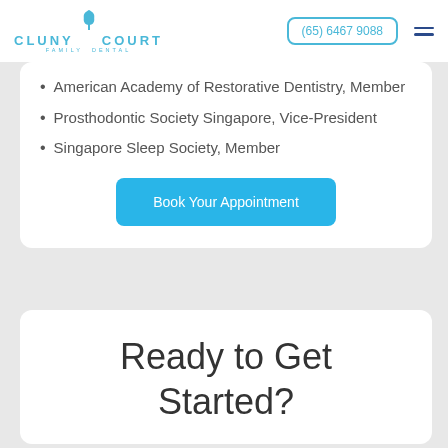Cluny Court Family Dental | (65) 6467 9088
American Academy of Restorative Dentistry, Member
Prosthodontic Society Singapore, Vice-President
Singapore Sleep Society, Member
Book Your Appointment
Ready to Get Started?